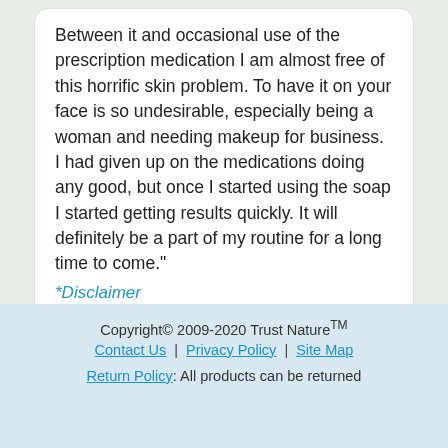Between it and occasional use of the prescription medication I am almost free of this horrific skin problem. To have it on your face is so undesirable, especially being a woman and needing makeup for business. I had given up on the medications doing any good, but once I started using the soap I started getting results quickly. It will definitely be a part of my routine for a long time to come."
*Disclaimer
-Pam C.
Order Now...
Copyright© 2009-2020 Trust Nature™
Contact Us | Privacy Policy | Site Map
Return Policy: All products can be returned